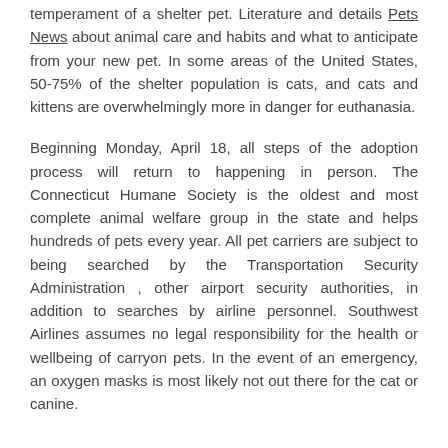temperament of a shelter pet. Literature and details Pets News about animal care and habits and what to anticipate from your new pet. In some areas of the United States, 50-75% of the shelter population is cats, and cats and kittens are overwhelmingly more in danger for euthanasia.
Beginning Monday, April 18, all steps of the adoption process will return to happening in person. The Connecticut Humane Society is the oldest and most complete animal welfare group in the state and helps hundreds of pets every year. All pet carriers are subject to being searched by the Transportation Security Administration , other airport security authorities, in addition to searches by airline personnel. Southwest Airlines assumes no legal responsibility for the health or wellbeing of carryon pets. In the event of an emergency, an oxygen masks is most likely not out there for the cat or canine.